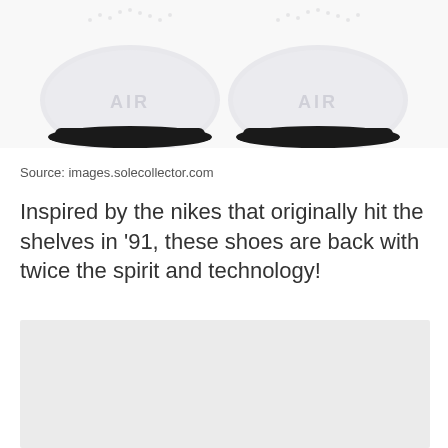[Figure (photo): Two white Nike Air sneakers viewed from the heel/back, showing the AIR branding embossed on white midsoles, black outsoles, on a white background.]
Source: images.solecollector.com
Inspired by the nikes that originally hit the shelves in '91, these shoes are back with twice the spirit and technology!
[Figure (photo): Partial view of another shoe photo on a light gray background, cropped at the bottom of the page.]